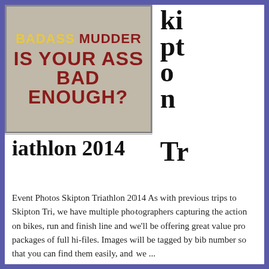[Figure (photo): A promotional image with text reading 'BADASS MUDDER - IS YOUR ASS BAD ENOUGH?' in bold dark red/maroon lettering on a textured stone/concrete background]
Skipton Triathlon 2014
Event Photos Skipton Triathlon 2014 As with previous trips to Skipton Tri, we have multiple photographers capturing the action on bikes, run and finish line and we'll be offering great value pro packages of full hi-files. Images will be tagged by bib number so that you can find them easily, and we ...